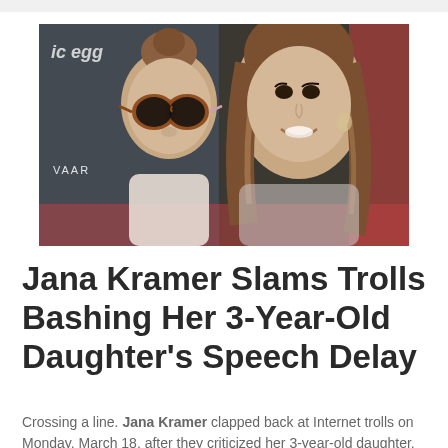[Figure (photo): A woman with long brunette hair smiling, holding a young toddler girl with a bun hairstyle wearing oversized round sunglasses, at what appears to be a red carpet event with a dark backdrop]
Jana Kramer Slams Trolls Bashing Her 3-Year-Old Daughter's Speech Delay
Crossing a line. Jana Kramer clapped back at Internet trolls on Monday, March 18, after they criticized her 3-year-old daughter, Jolie, for her speech delay.